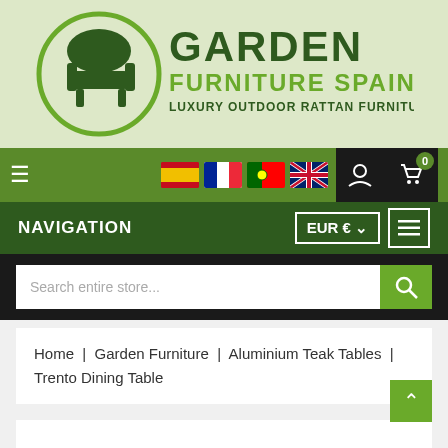[Figure (logo): Garden Furniture Spain logo — armchair icon in green circle with text GARDEN FURNITURE SPAIN LUXURY OUTDOOR RATTAN FURNITURE on light green background]
Navigation bar with hamburger menu, Spain/France/Portugal/UK flags, user icon, cart icon (0)
NAVIGATION   EUR €  ≡
Search entire store...
Home  |  Garden Furniture  |  Aluminium Teak Tables  |  Trento Dining Table